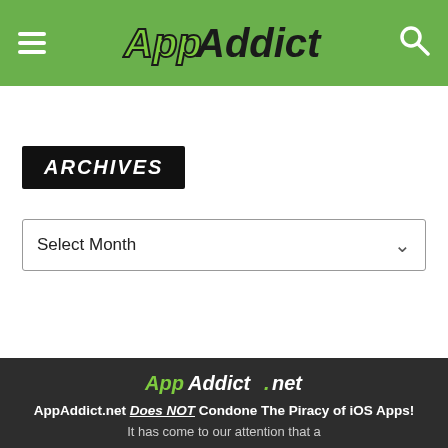AppAddict.net
ARCHIVES
Select Month
[Figure (logo): AppAddict.net logo in footer]
AppAddict.net Does NOT Condone The Piracy of iOS Apps!
It has come to our attention that a